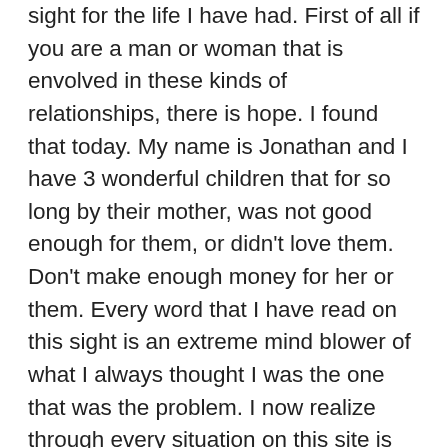sight for the life I have had. First of all if you are a man or woman that is envolved in these kinds of relationships, there is hope. I found that today. My name is Jonathan and I have 3 wonderful children that for so long by their mother, was not good enough for them, or didn't love them. Don't make enough money for her or them. Every word that I have read on this sight is an extreme mind blower of what I always thought I was the one that was the problem. I now realize through every situation on this site is so many memories that I have relived myself. I'm not perfect by no means or better than anyone else. I have had the same job for 8 yrs and always done my best to do everything I possibly can to provide for my family. Up until now, my wife has always belittled me telling me I don't make enough money when